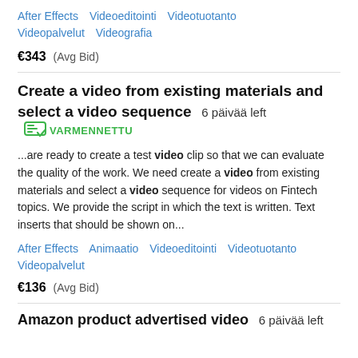After Effects   Videoeditointi   Videotuotanto   Videopalvelut   Videografia
€343  (Avg Bid)
Create a video from existing materials and select a video sequence  6 päivää left  VARMENNETTU
...are ready to create a test video clip so that we can evaluate the quality of the work. We need create a video from existing materials and select a video sequence for videos on Fintech topics. We provide the script in which the text is written. Text inserts that should be shown on...
After Effects   Animaatio   Videoeditointi   Videotuotanto   Videopalvelut
€136  (Avg Bid)
Amazon product advertised video  6 päivää left